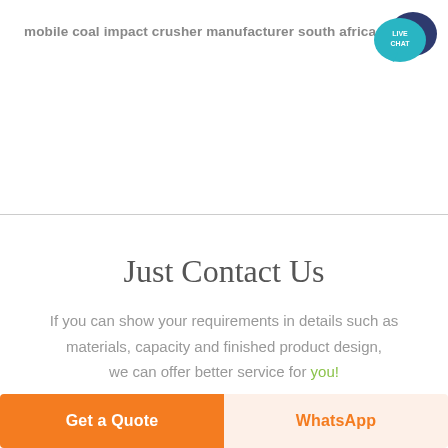mobile coal impact crusher manufacturer south africa
[Figure (illustration): Live chat icon: a teal speech bubble with 'LIVE CHAT' text and a dark blue chat bubble behind it]
Just Contact Us
If you can show your requirements in details such as materials, capacity and finished product design, we can offer better service for you!
Get a Quote
WhatsApp